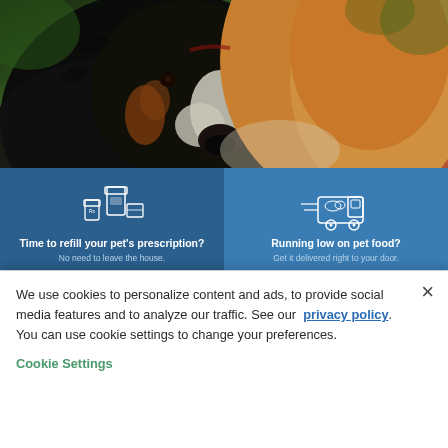[Figure (photo): Two dogs close together outdoors — a black, white and tan Bernese Mountain Dog on the left and a golden/caramel colored dog on the right, with green foliage in background]
[Figure (infographic): Two-by-two grid of blue panels. Top-left dark blue panel with prescription bottle icons. Top-right medium blue panel with delivery truck icon. Bottom-left dark blue panel with mobile phone/myPCA app. Bottom-right light gray panel with myPCA branded items.]
Time to refill your pet's prescription? No need to leave the house. Refill Now →
Running low on pet food? Get it delivered right to your door. Shop Food →
We use cookies to personalize content and ads, to provide social media features and to analyze our traffic. See our privacy policy. You can use cookie settings to change your preferences.